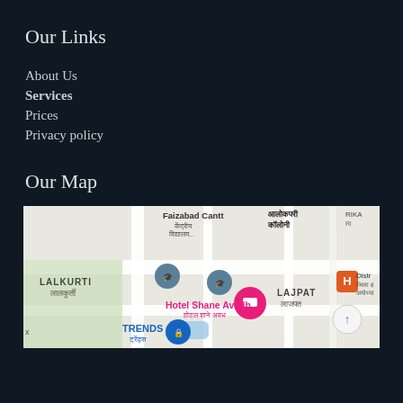Our Links
About Us
Services
Prices
Privacy policy
Our Map
[Figure (map): Google Maps view showing Faizabad Cantt area with landmarks including Hotel Shane Avadh, LALKURTI, LAJPAT, TRENDS, and a District hospital marker. Map shows Hindi and English text labels.]